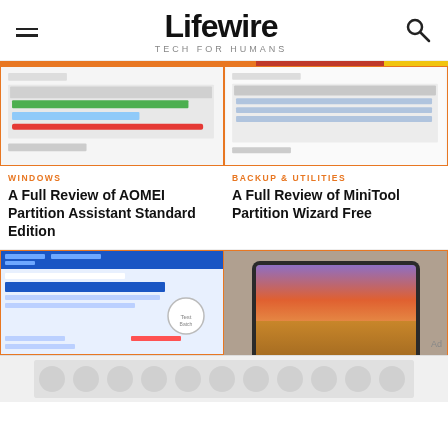Lifewire TECH FOR HUMANS
[Figure (screenshot): Screenshot of AOMEI Partition Assistant software showing disk partition management interface with green and red bars]
[Figure (screenshot): Screenshot of MiniTool Partition Wizard Free interface showing partition management table]
WINDOWS
A Full Review of AOMEI Partition Assistant Standard Edition
BACKUP & UTILITIES
A Full Review of MiniTool Partition Wizard Free
[Figure (screenshot): Screenshot of a web-based partition management tool with blue interface and circular diagram]
[Figure (photo): MacBook Pro laptop showing macOS Mojave desert wallpaper with purple/orange sky]
Ad